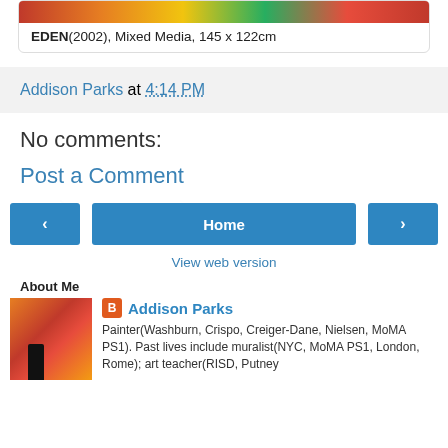EDEN(2002), Mixed Media, 145 x 122cm
Addison Parks at 4:14 PM
No comments:
Post a Comment
[Figure (other): Navigation buttons: left arrow, Home button, right arrow]
View web version
About Me
[Figure (photo): Photo of Addison Parks standing in front of a large orange/red painting]
Addison Parks
Painter(Washburn, Crispo, Creiger-Dane, Nielsen, MoMA PS1). Past lives include muralist(NYC, MoMA PS1, London, Rome); art teacher(RISD, Putney